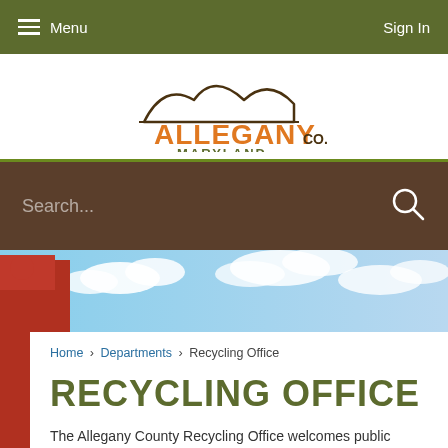Menu | Sign In
[Figure (logo): Allegany Co. Maryland logo with mountain silhouette]
Search...
[Figure (photo): Hero banner image showing blue sky with clouds and red recycling truck on the left]
Home › Departments › Recycling Office
RECYCLING OFFICE
The Allegany County Recycling Office welcomes public